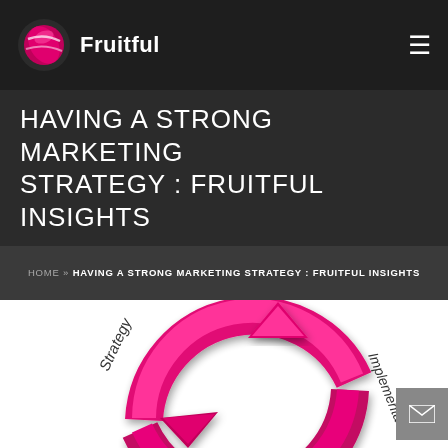Fruitful
HAVING A STRONG MARKETING STRATEGY : FRUITFUL INSIGHTS
HOME » HAVING A STRONG MARKETING STRATEGY : FRUITFUL INSIGHTS
[Figure (infographic): Circular arrow diagram showing marketing cycle with labels 'Strategy' on the left and 'Implementation' on the right, rendered in magenta/pink color with 3D arrow elements forming a circular loop]